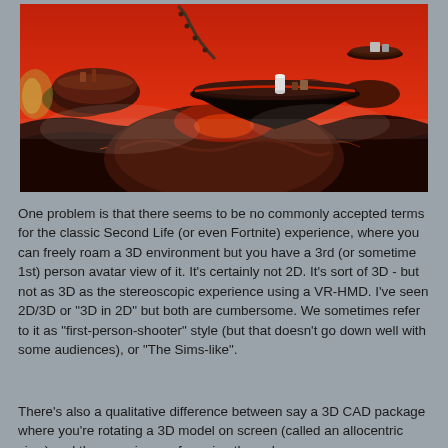[Figure (screenshot): A 3D virtual environment screenshot showing floating rocky islands with red sky, lava-like ground, and a disc-shaped platform. The scene resembles a sci-fi or fantasy game world reminiscent of Second Life or similar virtual environments.]
One problem is that there seems to be no commonly accepted terms for the classic Second Life (or even Fortnite) experience, where you can freely roam a 3D environment but you have a 3rd (or sometime 1st) person avatar view of it. It's certainly not 2D. It's sort of 3D - but not as 3D as the stereoscopic experience using a VR-HMD. I've seen 2D/3D or "3D in 2D" but both are cumbersome. We sometimes refer to it as "first-person-shooter" style (but that doesn't go down well with some audiences), or "The Sims-like".
There's also a qualitative difference between say a 3D CAD package where you're rotating a 3D model on screen (called an allocentric view) and the experience of running through